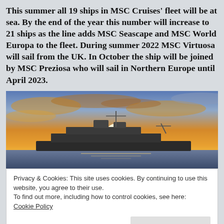This summer all 19 ships in MSC Cruises' fleet will be at sea. By the end of the year this number will increase to 21 ships as the line adds MSC Seascape and MSC World Europa to the fleet. During summer 2022 MSC Virtuosa will sail from the UK. In October the ship will be joined by MSC Preziosa who will sail in Northern Europe until April 2023.
[Figure (photo): A cruise ship silhouetted against a dramatic golden sunset sky at sea, with bright orange and yellow clouds and the sun visible behind the ship's structure.]
Privacy & Cookies: This site uses cookies. By continuing to use this website, you agree to their use.
To find out more, including how to control cookies, see here:
Cookie Policy